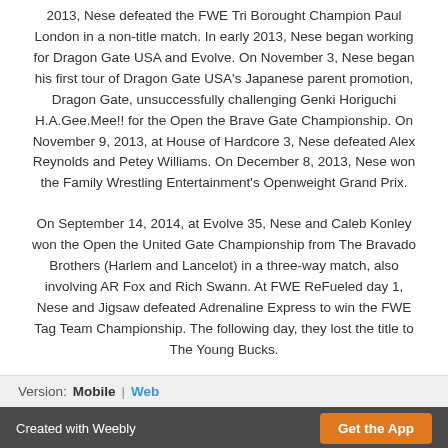2013, Nese defeated the FWE Tri Borought Champion Paul London in a non-title match. In early 2013, Nese began working for Dragon Gate USA and Evolve. On November 3, Nese began his first tour of Dragon Gate USA's Japanese parent promotion, Dragon Gate, unsuccessfully challenging Genki Horiguchi H.A.Gee.Mee!! for the Open the Brave Gate Championship. On November 9, 2013, at House of Hardcore 3, Nese defeated Alex Reynolds and Petey Williams. On December 8, 2013, Nese won the Family Wrestling Entertainment's Openweight Grand Prix.
On September 14, 2014, at Evolve 35, Nese and Caleb Konley won the Open the United Gate Championship from The Bravado Brothers (Harlem and Lancelot) in a three-way match, also involving AR Fox and Rich Swann. At FWE ReFueled day 1, Nese and Jigsaw defeated Adrenaline Express to win the FWE Tag Team Championship. The following day, they lost the title to The Young Bucks.
Version: Mobile | Web
Created with Weebly   Get the App